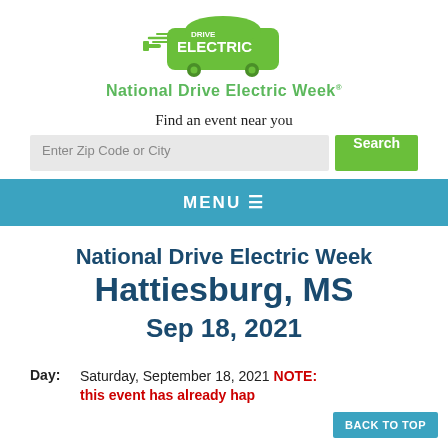[Figure (logo): Drive Electric National Drive Electric Week logo — green car silhouette with speed lines and plug icon, with 'DRIVE ELECTRIC' text inside and 'National Drive Electric Week' below in green bold text]
Find an event near you
Enter Zip Code or City  [Search]
MENU ☰
National Drive Electric Week Hattiesburg, MS Sep 18, 2021
Day:  Saturday, September 18, 2021 NOTE: this event has already hap... find an event near you on the...